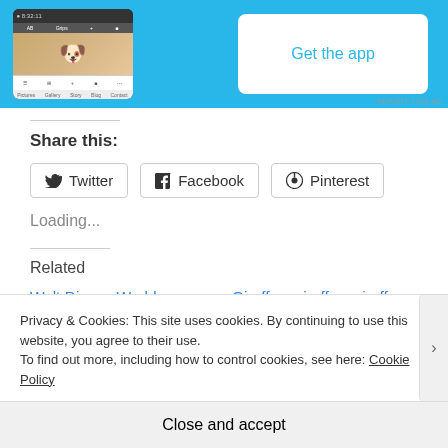[Figure (screenshot): App advertisement banner with blue background showing a phone screenshot on the left and a 'Get the app' button on the right]
Share this:
Twitter  Facebook  Pinterest
Loading...
Related
Walt Disney World: Wandering the parks a photo
Giraffes, giraffes, giraffes, elephants and lions oh my
Privacy & Cookies: This site uses cookies. By continuing to use this website, you agree to their use.
To find out more, including how to control cookies, see here: Cookie Policy
Close and accept